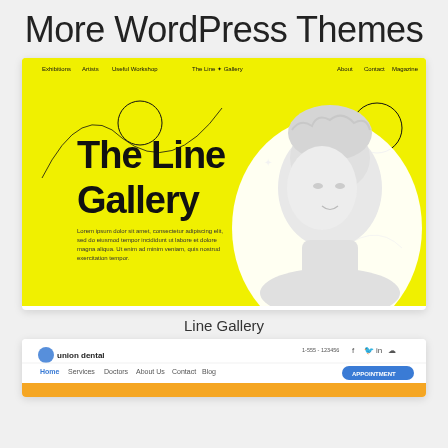More WordPress Themes
[Figure (screenshot): Screenshot of 'The Line Gallery' WordPress theme featuring a bright yellow background, large black bold text reading 'The Line Gallery', a white classical statue bust on the right side, navigation menu at top, and lorem ipsum placeholder text below the heading.]
Line Gallery
[Figure (screenshot): Partial screenshot of 'Union Dental' WordPress theme showing a white header with logo, navigation links (Home, Services, Doctors, About Us, Contact, Blog), a blue appointment button, and social media icons.]